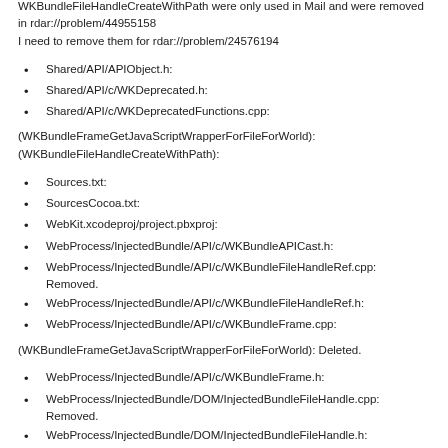Source/WebKit:
WKBundleFrameGetJavaScriptWrapperForFileForWorld and WKBundleFileHandleCreateWithPath were only used in Mail and were removed in rdar://problem/44955158
I need to remove them for rdar://problem/24576194
Shared/API/APIObject.h:
Shared/API/c/WKDeprecated.h:
Shared/API/c/WKDeprecatedFunctions.cpp:
(WKBundleFrameGetJavaScriptWrapperForFileForWorld):
(WKBundleFileHandleCreateWithPath):
Sources.txt:
SourcesCocoa.txt:
WebKit.xcodeproj/project.pbxproj:
WebProcess/InjectedBundle/API/c/WKBundleAPICast.h:
WebProcess/InjectedBundle/API/c/WKBundleFileHandleRef.cpp: Removed.
WebProcess/InjectedBundle/API/c/WKBundleFileHandleRef.h:
WebProcess/InjectedBundle/API/c/WKBundleFrame.cpp:
(WKBundleFrameGetJavaScriptWrapperForFileForWorld): Deleted.
WebProcess/InjectedBundle/API/c/WKBundleFrame.h:
WebProcess/InjectedBundle/DOM/InjectedBundleFileHandle.cpp: Removed.
WebProcess/InjectedBundle/DOM/InjectedBundleFileHandle.h: Removed.